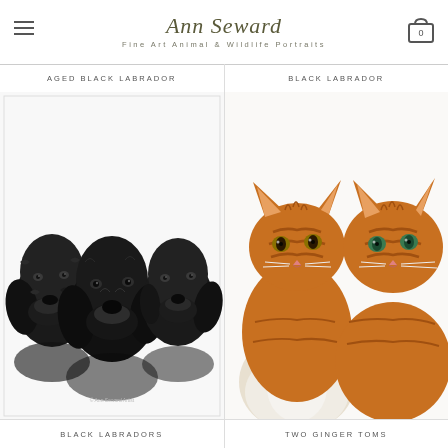Ann Seward Fine Art Animal & Wildlife Portraits
AGED BLACK LABRADOR
BLACK LABRADOR
[Figure (illustration): Pencil drawing of three black Labrador dogs side by side]
[Figure (illustration): Colour illustration of two ginger tabby cats side by side]
BLACK LABRADORS
TWO GINGER TOMS